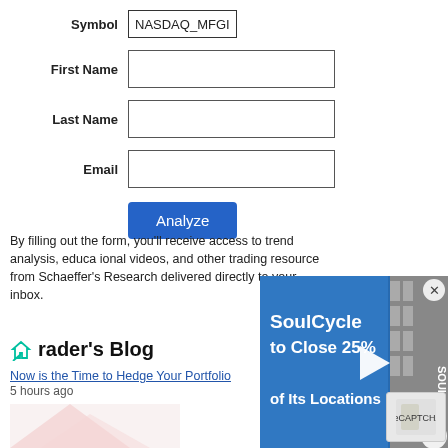Symbol: NASDAQ_MFGI
First Name
Last Name
Email
Analyze (button)
By filling out the form, you'll receive access to trend analysis, educational videos, and other trading resources from Schaeffer's Research delivered directly to your inbox.
[Figure (screenshot): Embedded video ad overlay showing SoulCycle to Close 25% of Its Locations with a play button, and a close (X) button]
Trader's Blog
Now is the Time to Hedge Your Portfolio
5 hours ago
[Figure (photo): Partially visible blog thumbnail image at bottom of page]